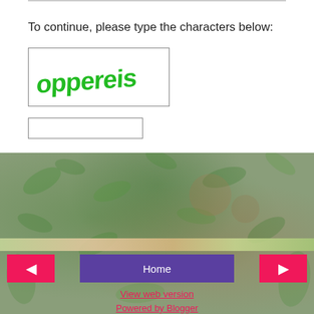To continue, please type the characters below:
[Figure (other): CAPTCHA image showing distorted green text reading 'oppereis' in a white bordered box]
[Figure (other): Empty text input box for CAPTCHA entry]
Thanks for your feedback! It'll be published once I approve it. Inflammatory/abusive comments will not be posted. Please play nice.
◀
Home
▶
View web version
Powered by Blogger